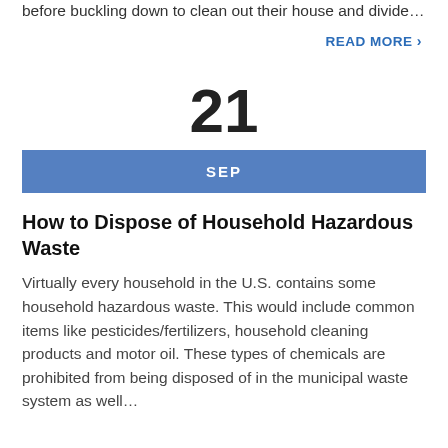before buckling down to clean out their house and divide…
READ MORE >
21
SEP
How to Dispose of Household Hazardous Waste
Virtually every household in the U.S. contains some household hazardous waste. This would include common items like pesticides/fertilizers, household cleaning products and motor oil. These types of chemicals are prohibited from being disposed of in the municipal waste system as well…